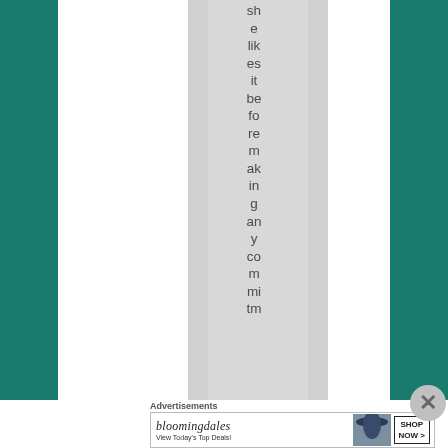she likes it before making any commitment
Advertisements
[Figure (screenshot): Bloomingdale's advertisement banner reading 'View Today's Top Deals!' with a woman in a large hat and a 'SHOP NOW >' button]